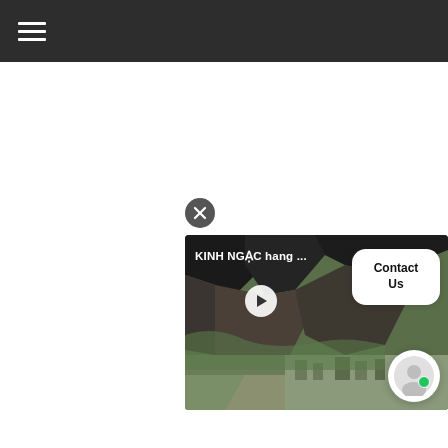Navigation menu bar with hamburger icon
[Figure (screenshot): White blank area — main content body of a webpage]
[Figure (screenshot): Close/dismiss button — dark circle with X icon]
[Figure (screenshot): Video thumbnail showing cave/mountain aerial footage with title 'KINH NGAC hang ...' and a play button, overlaid with a Contact Us popup and a chat avatar circle with green online indicator dot]